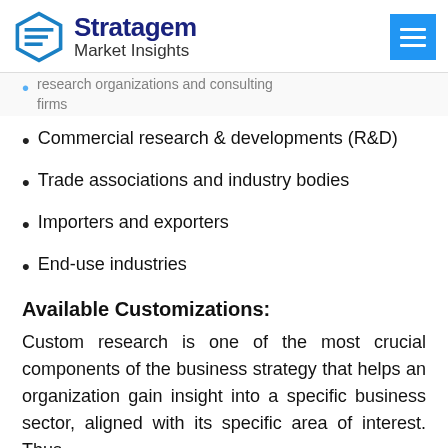Stratagem Market Insights
research organizations and consulting firms
Commercial research & developments (R&D)
Trade associations and industry bodies
Importers and exporters
End-use industries
Available Customizations:
Custom research is one of the most crucial components of the business strategy that helps an organization gain insight into a specific business sector, aligned with its specific area of interest. Thus,